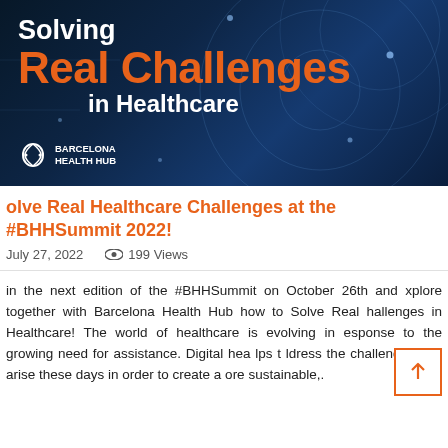[Figure (illustration): Barcelona Health Hub banner with dark navy blue background, circular network graphic elements, title text 'Solving Real Challenges in Healthcare' and Barcelona Health Hub logo]
olve Real Healthcare Challenges at the #BHHSummit 2022!
July 27, 2022   199 Views
in the next edition of the #BHHSummit on October 26th and xplore together with Barcelona Health Hub how to Solve Real hallenges in Healthcare! The world of healthcare is evolving in esponse to the growing need for assistance. Digital hea lps to ldress the challenges that arise these days in order to create a ore sustainable,.